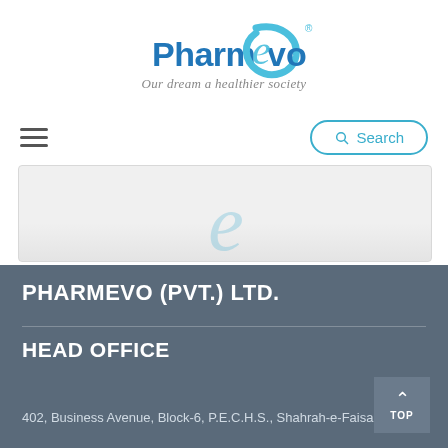[Figure (logo): PharmEvo logo with tagline 'Our dream a healthier society'. Blue stylized text with a swooping e-letterform graphic. Registered trademark symbol.]
[Figure (screenshot): Navigation bar with hamburger menu icon on the left and a Search button (rounded pill shape with magnifying glass icon) on the right.]
[Figure (other): Light gray card/content area with a large faint italic 'e' watermark in light blue.]
PHARMEVO (PVT.) LTD.
HEAD OFFICE
402, Business Avenue, Block-6, P.E.C.H.S., Shahrah-e-Faisal,